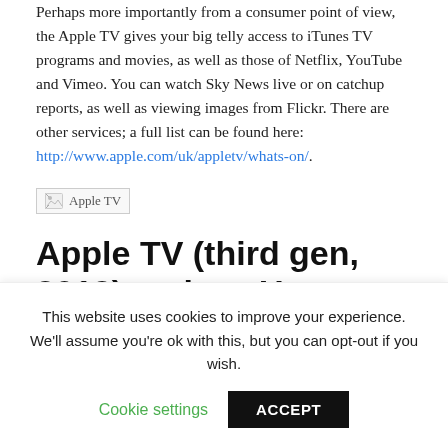Perhaps more importantly from a consumer point of view, the Apple TV gives your big telly access to iTunes TV programs and movies, as well as those of Netflix, YouTube and Vimeo. You can watch Sky News live or on catchup reports, as well as viewing images from Flickr. There are other services; a full list can be found here: http://www.apple.com/uk/appletv/whats-on/.
[Figure (photo): Broken image placeholder labeled 'Apple TV']
Apple TV (third gen, 2012) review: User interface
Apple TV's user interface is simple and intuitive, as you'd expect from Apple, and will be familiar to all iPad and iPhone users as it
This website uses cookies to improve your experience. We'll assume you're ok with this, but you can opt-out if you wish.